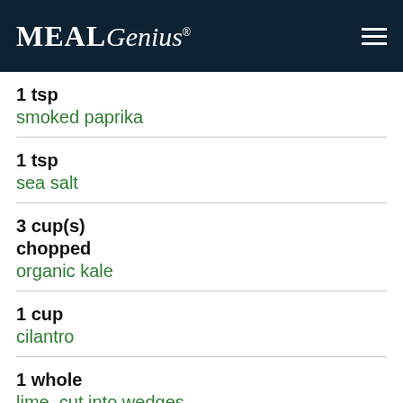MealGenius
1 tsp
smoked paprika
1 tsp
sea salt
3 cup(s)
chopped
organic kale
1 cup
cilantro
1 whole
lime, cut into wedges